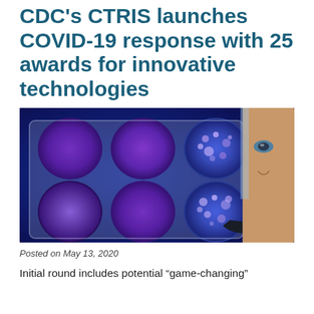CDC's CTRIS launches COVID-19 response with 25 awards for innovative technologies
[Figure (photo): A researcher in PPE (face shield and gloves) examining a multi-well plate with purple bacterial colonies under blue light]
Posted on May 13, 2020
Initial round includes potential “game-changing”